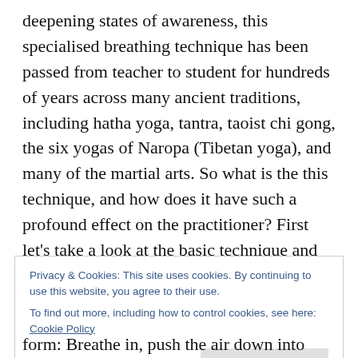deepening states of awareness, this specialised breathing technique has been passed from teacher to student for hundreds of years across many ancient traditions, including hatha yoga, tantra, taoist chi gong, the six yogas of Naropa (Tibetan yoga), and many of the martial arts. So what is the this technique, and how does it have such a profound effect on the practitioner? First let's take a look at the basic technique and how it is described by the traditions that utilise it, then we'll take a look at what's going on at the physiological level.
The technique goes by many names: Vase breathing
Privacy & Cookies: This site uses cookies. By continuing to use this website, you agree to their use. To find out more, including how to control cookies, see here: Cookie Policy
form: Breathe in, push the air down into your abdomen